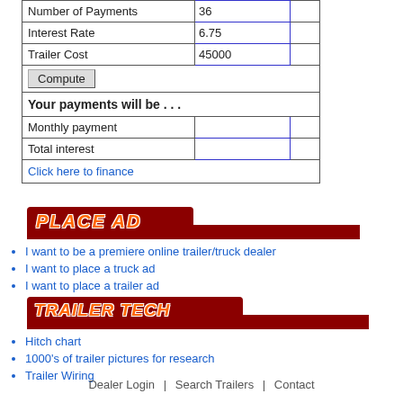|  | Value |  |
| --- | --- | --- |
| Number of Payments | 36 |  |
| Interest Rate | 6.75 |  |
| Trailer Cost | 45000 |  |
| Compute |  |  |
| Your payments will be . . . |  |  |
| Monthly payment |  |  |
| Total interest |  |  |
| Click here to finance |  |  |
[Figure (other): PLACE AD section banner with dark red background and orange italic bold text reading PLACE AD]
I want to be a premiere online trailer/truck dealer
I want to place a truck ad
I want to place a trailer ad
[Figure (other): TRAILER TECH section banner with dark red background and orange italic bold text reading TRAILER TECH]
Hitch chart
1000's of trailer pictures for research
Trailer Wiring
Dealer Login  |  Search Trailers  |  Contact